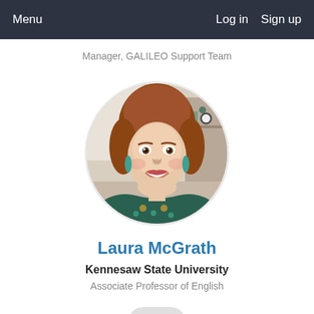Menu   Log in   Sign up
Manager, GALILEO Support Team
[Figure (photo): Circular profile photo of Laura McGrath, a woman with short auburn hair, smiling, wearing a patterned top with teal and gold colors.]
Laura McGrath
Kennesaw State University
Associate Professor of English